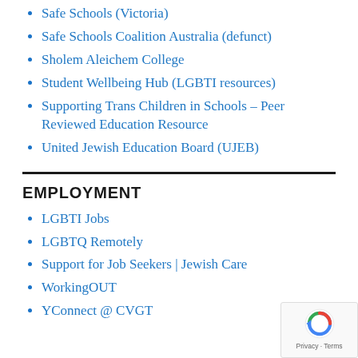Safe Schools (Victoria)
Safe Schools Coalition Australia (defunct)
Sholem Aleichem College
Student Wellbeing Hub (LGBTI resources)
Supporting Trans Children in Schools – Peer Reviewed Education Resource
United Jewish Education Board (UJEB)
EMPLOYMENT
LGBTI Jobs
LGBTQ Remotely
Support for Job Seekers | Jewish Care
WorkingOUT
YConnect @ CVGT